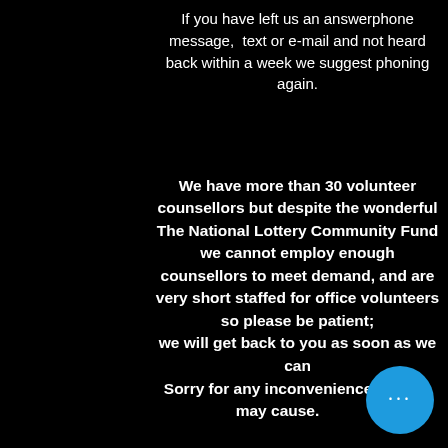If you have left us an answerphone message,  text or e-mail and not heard back within a week we suggest phoning again.
We have more than 30 volunteer counsellors but despite the wonderful The National Lottery Community Fund we cannot employ enough counsellors to meet demand, and are very short staffed for office volunteers so please be patient; we will get back to you as soon as we can
Sorry for any inconvenience this may cause.
[Figure (other): Blue circular button with three white dots (ellipsis/more options button) in the bottom-right corner]